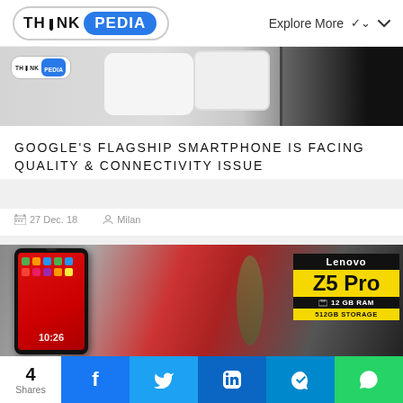THINK PEDIA — Explore More
[Figure (photo): Partial view of a white Google Pixel smartphone against a light background, with a ThinkPedia watermark badge in the top-left corner]
GOOGLE'S FLAGSHIP SMARTPHONE IS FACING QUALITY & CONNECTIVITY ISSUE
27 Dec. 18   Milan
[Figure (photo): Lenovo Z5 Pro smartphone with a red screen showing app icons, displaying 10:26 time. An overlay badge shows 'Lenovo Z5 Pro 12 GB RAM 512GB Storage' in black and yellow colors.]
4 Shares | Facebook | Twitter | LinkedIn | Telegram | WhatsApp